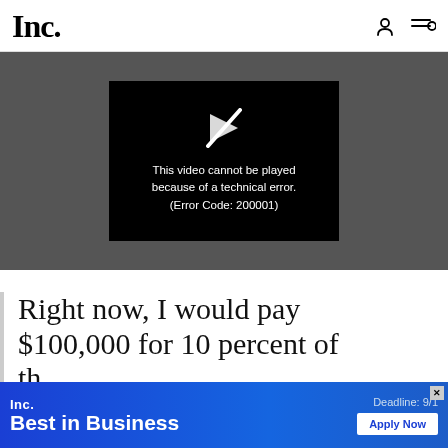Inc.
[Figure (screenshot): Video player showing error message: 'This video cannot be played because of a technical error. (Error Code: 200001)' on a dark background with a broken play icon.]
Right now, I would pay $100,000 for 10 percent of th
[Figure (infographic): Inc. Best in Business advertisement banner with 'Deadline: 9/1' and 'Apply Now' button]